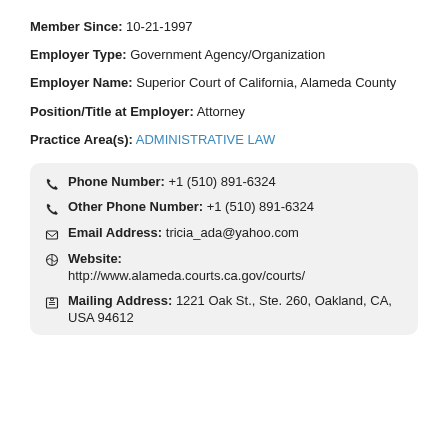Member Since: 10-21-1997
Employer Type: Government Agency/Organization
Employer Name: Superior Court of California, Alameda County
Position/Title at Employer: Attorney
Practice Area(s): ADMINISTRATIVE LAW
Phone Number: +1 (510) 891-6324
Other Phone Number: +1 (510) 891-6324
Email Address: tricia_ada@yahoo.com
Website: http://www.alameda.courts.ca.gov/courts/
Mailing Address: 1221 Oak St., Ste. 260, Oakland, CA, USA 94612